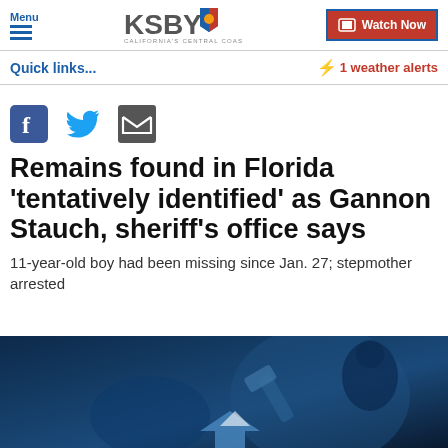Menu | KSBY CALIFORNIA'S CENTRAL COAST | Watch Now
Quick links... ⚡ 1 weather alerts
[Figure (infographic): Social media sharing icons: Facebook, Twitter, Email]
Remains found in Florida 'tentatively identified' as Gannon Stauch, sheriff's office says
11-year-old boy had been missing since Jan. 27; stepmother arrested
[Figure (photo): Dark blue-tinted photo showing a blurred courtroom or office scene with a gavel and figure in background]